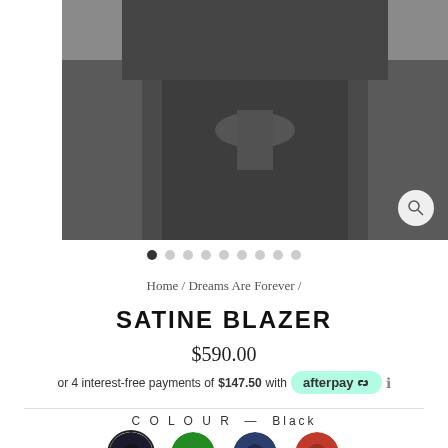[Figure (photo): Person wearing a dark grey/black satin blazer with belt tie, cropped view of torso]
● ○ ○ ○ ○ ○ ○ ○ ○
Home / Dreams Are Forever /
SATINE BLAZER
$590.00
or 4 interest-free payments of $147.50 with afterpay
COLOUR — Black